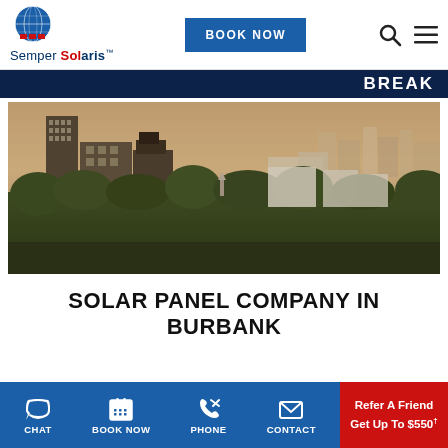[Figure (logo): Semper Solaris logo with globe icon and company name]
BOOK NOW
SOLAR PANEL COMPANY IN BURBANK
[Figure (photo): Aerial cityscape photo of Burbank, CA with buildings and trees at golden hour]
CHAT | BOOK NOW | PHONE | CONTACT | Refer A Friend Get Up To $550